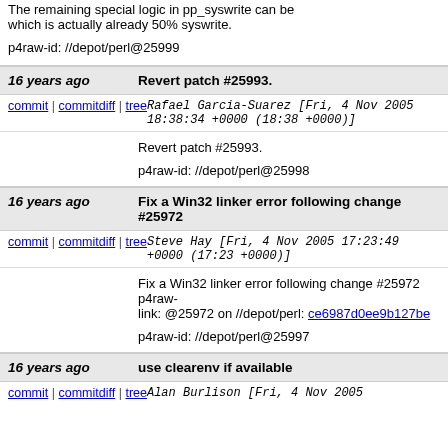The remaining special logic in pp_syswrite can be which is actually already 50% syswrite.

p4raw-id: //depot/perl@25999
16 years ago   Revert patch #25993.
commit | commitdiff | tree   Rafael Garcia-Suarez [Fri, 4 Nov 2005 18:38:34 +0000 (18:38 +0000)]
Revert patch #25993.

p4raw-id: //depot/perl@25998
16 years ago   Fix a Win32 linker error following change #25972
commit | commitdiff | tree   Steve Hay [Fri, 4 Nov 2005 17:23:49 +0000 (17:23 +0000)]
Fix a Win32 linker error following change #25972 p4raw-link: @25972 on //depot/perl: ce6987d0ee9b127be

p4raw-id: //depot/perl@25997
16 years ago   use clearenv if available
commit | commitdiff | tree   Alan Burlison [Fri, 4 Nov 2005